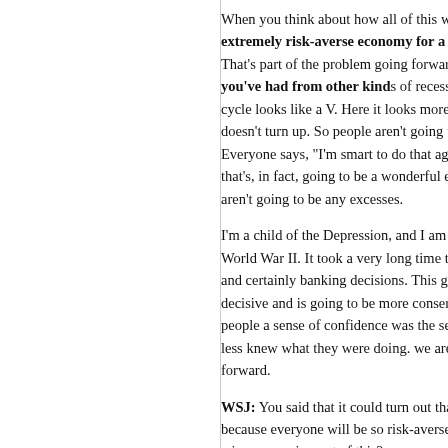When you think about how all of this will work out, it's going to be an extremely risk-averse economy for a long time, until lessons are learned. That's part of the problem going forward. You won't get V's from this, as you've had from other kinds of recessions, the kind where the business cycle looks like a V. Here it looks more like an L, where it goes down and doesn't turn up. So people aren't going to get caught in this bind again. Everyone says, 'I'm smart to do that again.' And everyone else is too. And that's, in fact, going to be a wonderful environment in some ways, there aren't going to be any excesses.
I'm a child of the Depression, and I am thinking about the aftermath of World War II. It took a very long time to get back to making bold decisions, and certainly banking decisions. This generation, too, is going to be less decisive and is going to be more conservative. One of the things that gave people a sense of confidence was the sense that the central bankers more or less knew what they were doing. we are going to feel that way going forward.
WSJ: You said that it could turn out that the economy does reasonably well because everyone will be so risk-averse. Who do you think will be the winners coming out of this?
Mr. Bernstein: You could say some things that would be real estate. But I think real estate... you can't buy real estate with cash, it is too...